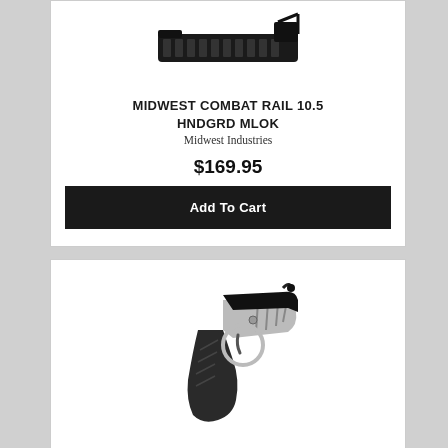[Figure (photo): Product photo of Midwest Combat Rail 10.5 HNDGRD MLOK handguard rail, black, shown from angle]
MIDWEST COMBAT RAIL 10.5 HNDGRD MLOK
Midwest Industries
$169.95
Add To Cart
[Figure (photo): Product photo of a trigger group with black pistol grip, silver/stainless lower trigger housing with decorative cutouts, and black trigger mechanism]